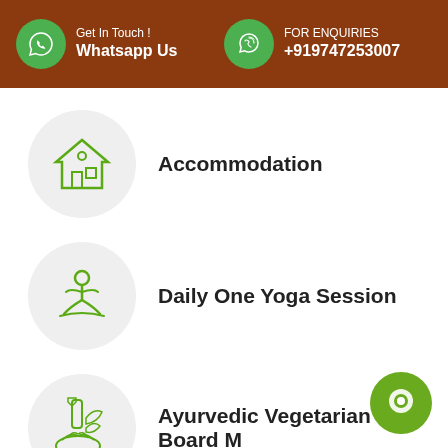Get In Touch ! Whatsapp Us | FOR ENQUIRIES +919747253007
Accommodation
Daily One Yoga Session
Ayurvedic Vegetarian Full Board M...